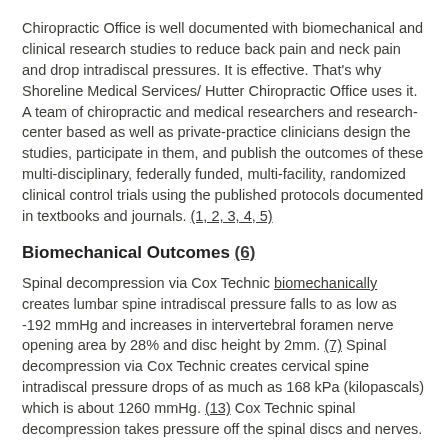Chiropractic Office is well documented with biomechanical and clinical research studies to reduce back pain and neck pain and drop intradiscal pressures. It is effective. That's why Shoreline Medical Services/ Hutter Chiropractic Office uses it. A team of chiropractic and medical researchers and research-center based as well as private-practice clinicians design the studies, participate in them, and publish the outcomes of these multi-disciplinary, federally funded, multi-facility, randomized clinical control trials using the published protocols documented in textbooks and journals. (1, 2, 3, 4, 5)
Biomechanical Outcomes (6)
Spinal decompression via Cox Technic biomechanically creates lumbar spine intradiscal pressure falls to as low as -192 mmHg and increases in intervertebral foramen nerve opening area by 28% and disc height by 2mm. (7) Spinal decompression via Cox Technic creates cervical spine intradiscal pressure drops of as much as 168 kPa (kilopascals) which is about 1260 mmHg. (13) Cox Technic spinal decompression takes pressure off the spinal discs and nerves.